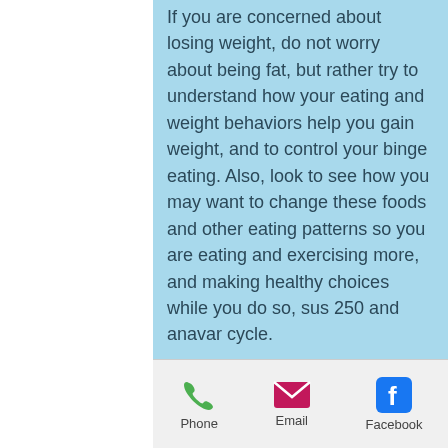If you are concerned about losing weight, do not worry about being fat, but rather try to understand how your eating and weight behaviors help you gain weight, and to control your binge eating. Also, look to see how you may want to change these foods and other eating patterns so you are eating and exercising more, and making healthy choices while you do so, sus 250 and anavar cycle.
References
Eckström, J. M., Andersen, S. B., Poulin, T. H., Skakkebæk, L. A. (2013).
Post cycle therapy (PCT) If you are new to steroid cycle use, following the PCT cycle is
[Figure (other): Mobile website bottom navigation bar with Phone, Email, and Facebook icons]
[Figure (photo): Dark background photo on right side of page showing blurred nighttime scene with lights]